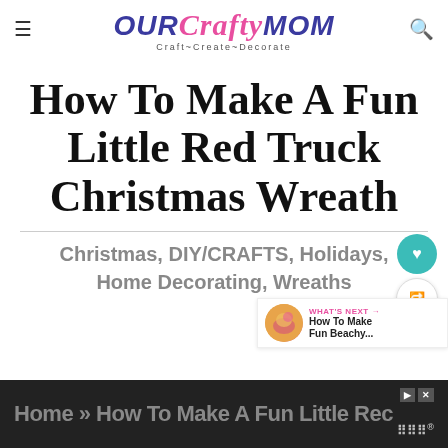OUR Crafty MOM — Craft~Create~Decorate
How To Make A Fun Little Red Truck Christmas Wreath
Christmas, DIY/CRAFTS, Holidays, Home Decorating, Wreaths
WHAT'S NEXT → How To Make Fun Beachy...
Home » How To Make A Fun Little Red...